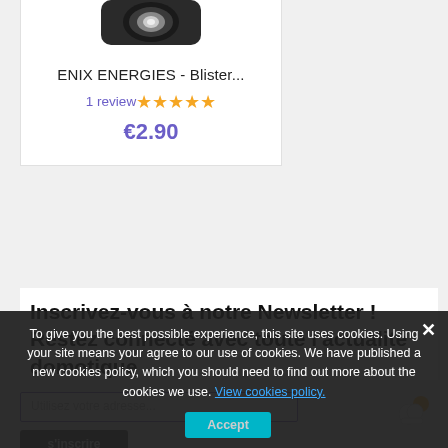[Figure (photo): Product image of ENIX ENERGIES battery blister pack on white background]
ENIX ENERGIES - Blister...
1 review ★★★★★
€2.90
Inscrivez-vous à notre Newsletter ! Restez connecté avec toute l'actualité domotique
Utilisez votre adresse...
s'inscrire
To give you the best possible experience, this site uses cookies. Using your site means your agree to our use of cookies. We have published a new cookies policy, which you should need to find out more about the cookies we use. View cookies policy. Accept